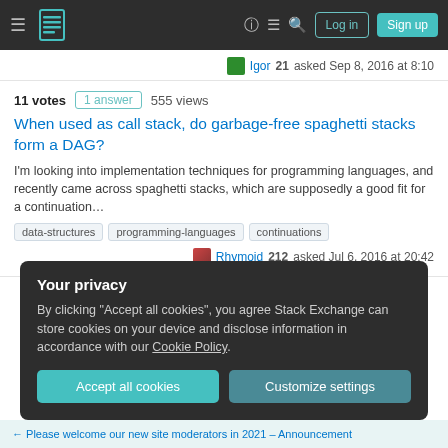Stack Exchange navigation bar with Log in and Sign up buttons
Igor 21 asked Sep 8, 2016 at 8:10
11 votes  1 answer  555 views
When used as call stack, do garbage-free spaghetti stacks form a DAG?
I'm looking into implementation techniques for programming languages, and recently came across spaghetti stacks, which are supposedly a good fit for a continuation…
data-structures
programming-languages
continuations
Rhymoid 212 asked Jul 6, 2016 at 20:42
Your privacy
By clicking "Accept all cookies", you agree Stack Exchange can store cookies on your device and disclose information in accordance with our Cookie Policy.
Accept all cookies   Customize settings